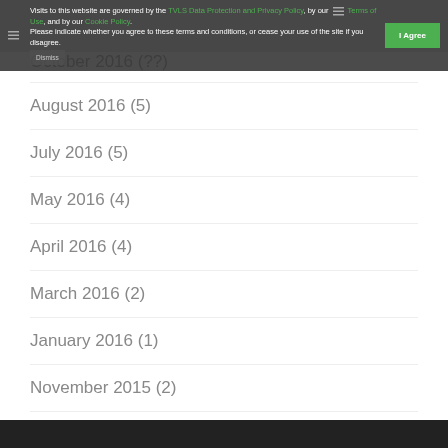Visits to this website are governed by the TVLS Data Protection and Privacy Policy, by our Terms of Use, and by our Cookie Policy. Please indicate whether you agree to these terms and conditions, or cease your use of the site if you disagree.
August 2016 (5)
July 2016 (5)
May 2016 (4)
April 2016 (4)
March 2016 (2)
January 2016 (1)
November 2015 (2)
July 2015 (1)